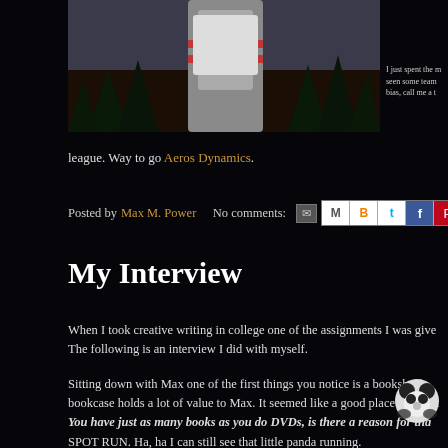[Figure (photo): Cropped photo of a person in uniform/cheerleader outfit with trees in background]
I just spent the m seen some team bias, call me a t
league. Way to go Aeros Dynamics.
Posted by Max M. Power   No comments:
My Interview
When I took creative writing in college one of the assignments I was give The following is an interview I did with myself.
Sitting down with Max one of the first things you notice is a bookshelf bookcase holds a lot of value to Max. It seemed like a good place to start t You have just as many books as you do DVDs, is there a reason for tha SPOT RUN. Ha, ha I can still see that little panda running.
So you have books from your childhood? Not anymore. The oldest thing